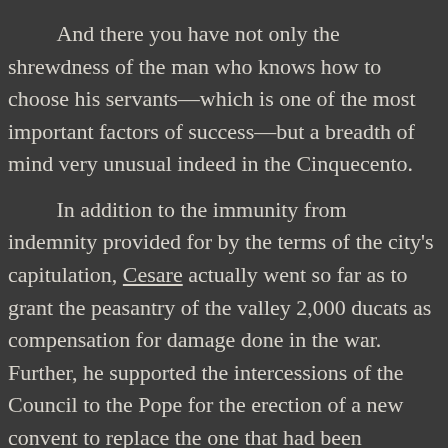And there you have not only the shrewdness of the man who knows how to choose his servants—which is one of the most important factors of success—but a breadth of mind very unusual indeed in the Cinquecento.

In addition to the immunity from indemnity provided for by the terms of the city's capitulation, Cesare actually went so far as to grant the peasantry of the valley 2,000 ducats as compensation for damage done in the war. Further, he supported the intercessions of the Council to the Pope for the erection of a new convent to replace the one that had been destroyed in the bombardment. In giving his consent to this—in a brief dated July 12, 1501—the Pope announces that he does so in response to the